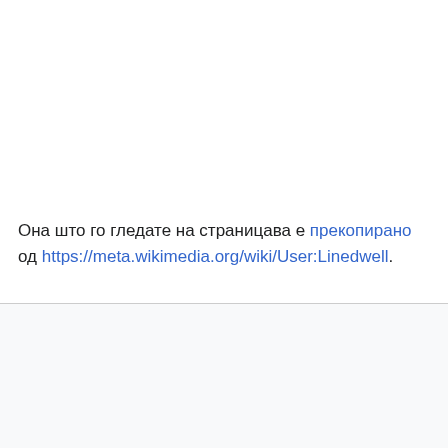Она што го гледате на страницава е прекопирано од https://meta.wikimedia.org/wiki/User:Linedwell.
Wikibooks
Услови на употреба • Заштита на личните податоци • Обично